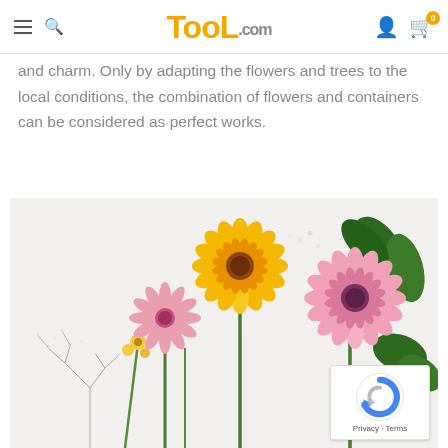TooL.com — navigation header with hamburger menu, search icon, logo, user icon, cart icon
and charm. Only by adapting the flowers and trees to the local conditions, the combination of flowers and containers can be considered as perfect works.
[Figure (photo): Photograph of colorful gerbera daisies — yellow and pink flowers with green leaves and baby's breath on a light background]
Privacy · Terms